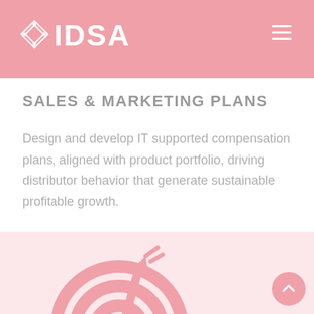IDSA
SALES & MARKETING PLANS
Design and develop IT supported compensation plans, aligned with product portfolio, driving distributor behavior that generate sustainable profitable growth.
[Figure (illustration): Pink target/bullseye icon with arrow, partially visible at the bottom of the page]